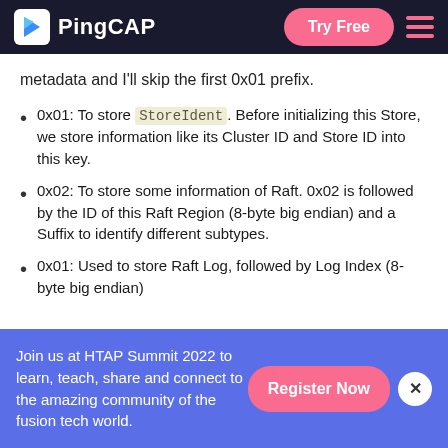PingCAP — Try Free
metadata and I'll skip the first 0x01 prefix.
0x01: To store StoreIdent. Before initializing this Store, we store information like its Cluster ID and Store ID into this key.
0x02: To store some information of Raft. 0x02 is followed by the ID of this Raft Region (8-byte big endian) and a Suffix to identify different subtypes.
0x01: Used to store Raft Log, followed by Log Index (8-byte big endian)
Join us at HTAP Summit 2022 to learn, teach, share and connect to the amazing community of the fusion tech world. Register Now